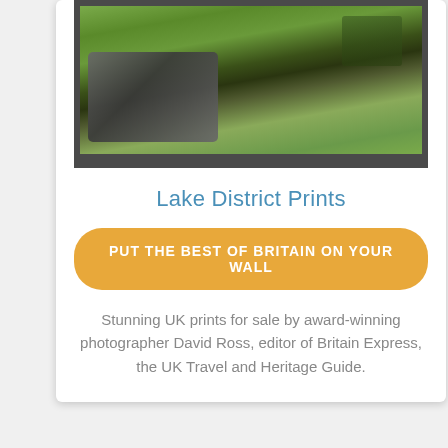[Figure (photo): Photograph of Lake District landscape showing green rolling hills and a stone wall in the foreground, displayed in a dark frame]
Lake District Prints
PUT THE BEST OF BRITAIN ON YOUR WALL
Stunning UK prints for sale by award-winning photographer David Ross, editor of Britain Express, the UK Travel and Heritage Guide.
▲ TOP
Passionate about British Heritage!